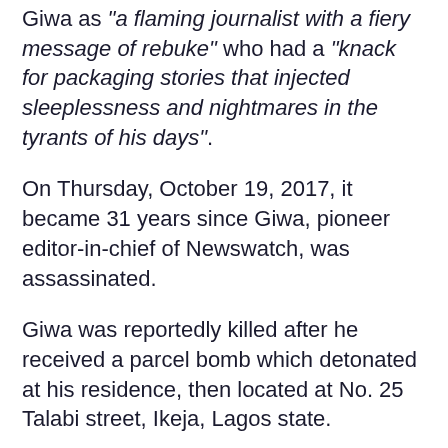Giwa as "a flaming journalist with a fiery message of rebuke" who had a "knack for packaging stories that injected sleeplessness and nightmares in the tyrants of his days".
On Thursday, October 19, 2017, it became 31 years since Giwa, pioneer editor-in-chief of Newswatch, was assassinated.
Giwa was reportedly killed after he received a parcel bomb which detonated at his residence, then located at No. 25  Talabi street, Ikeja, Lagos state.
The journalist who died at 39 was known for exposing corrupt and illegal dealings of the government and this earned him recognition.